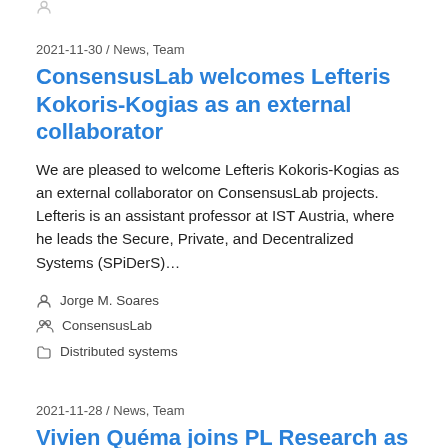2021-11-30 / News, Team
ConsensusLab welcomes Lefteris Kokoris-Kogias as an external collaborator
We are pleased to welcome Lefteris Kokoris-Kogias as an external collaborator on ConsensusLab projects. Lefteris is an assistant professor at IST Austria, where he leads the Secure, Private, and Decentralized Systems (SPiDerS)…
Jorge M. Soares
ConsensusLab
Distributed systems
2021-11-28 / News, Team
Vivien Quéma joins PL Research as an advisor